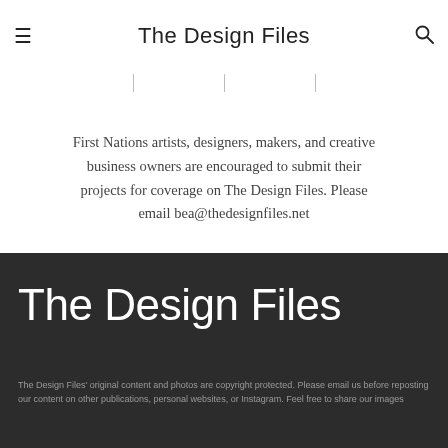The Design Files
First Nations artists, designers, makers, and creative business owners are encouraged to submit their projects for coverage on The Design Files. Please email bea@thedesignfiles.net
[Figure (logo): The Design Files logo in white text on dark background]
The Design Files' original content and photos are copyright protected. Please email us before reposting our content on other publications, personal websites, or Instagram. Feel free to share our images